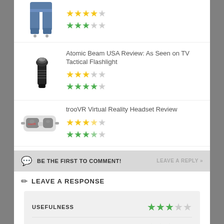[Figure (photo): Product listing row: jeans image with yellow and green star ratings (top, partially visible)]
[Figure (photo): Product listing row: Atomic Beam USA tactical flashlight with yellow 3/5 stars and green 4/5 stars]
Atomic Beam USA Review: As Seen on TV Tactical Flashlight
[Figure (photo): Product listing row: trooVR Virtual Reality Headset with yellow 3.5/5 stars and green 3.5/5 stars]
trooVR Virtual Reality Headset Review
BE THE FIRST TO COMMENT!  LEAVE A REPLY »
LEAVE A RESPONSE
| Category | Rating |
| --- | --- |
| USEFULNESS | 3/5 green stars |
| DURABILITY | 3/5 green stars |
| VALUE | 4/5 green stars |